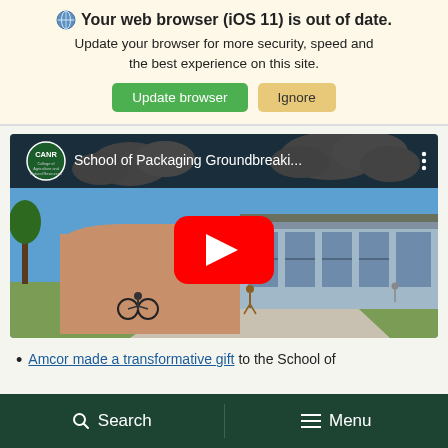🌐 Your web browser (iOS 11) is out of date. Update your browser for more security, speed and the best experience on this site.
Update browser | Ignore
[Figure (screenshot): YouTube video embed showing School of Packaging Groundbreaki... with CANR College of Agriculture and Natural Resources logo, building architectural rendering thumbnail, and red YouTube play button]
Amcor made a transformative gift to the School of
Search | Menu